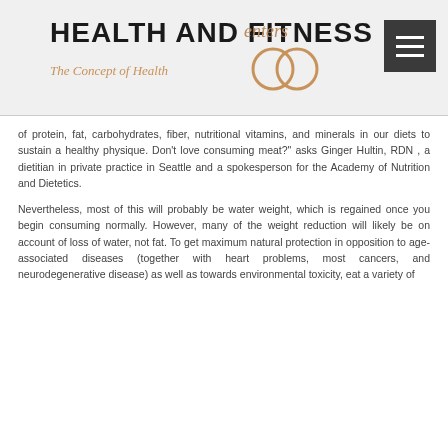[Figure (logo): Health and Fitness Centers logo with 'The Concept of Health' tagline in italic orange, decorative cursive overlay, and circular chain graphic]
of protein, fat, carbohydrates, fiber, nutritional vitamins, and minerals in our diets to sustain a healthy physique. Don't love consuming meat?" asks Ginger Hultin, RDN , a dietitian in private practice in Seattle and a spokesperson for the Academy of Nutrition and Dietetics.
Nevertheless, most of this will probably be water weight, which is regained once you begin consuming normally. However, many of the weight reduction will likely be on account of loss of water, not fat. To get maximum natural protection in opposition to age-associated diseases (together with heart problems, most cancers, and neurodegenerative disease) as well as towards environmental toxicity, eat a variety of